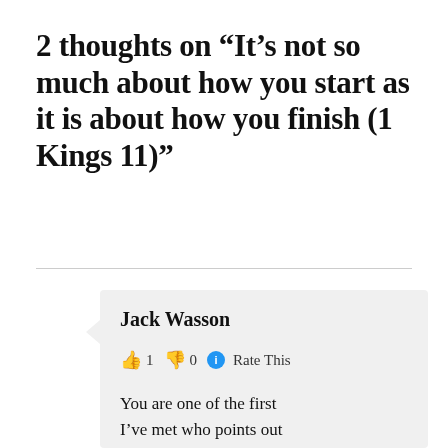2 thoughts on “It’s not so much about how you start as it is about how you finish (1 Kings 11)”
Jack Wasson
👍 1 👎 0 ℹ Rate This
You are one of the first I’ve met who points out